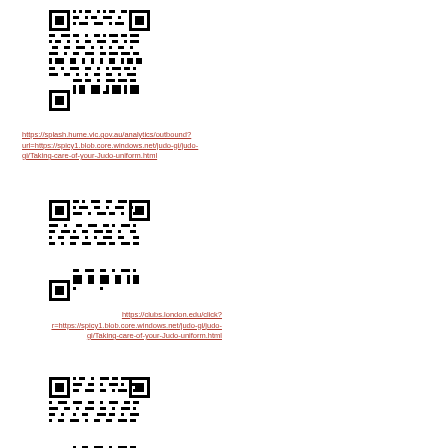[Figure (other): QR code image linking to hume.vic.gov.au analytics outbound URL]
https://splash.hume.vic.gov.au/analytics/outbound?url=https://spicy1.blob.core.windows.net/judo-gi/judo-gi/Taking-care-of-your-Judo-uniform.html
[Figure (other): QR code image linking to clubs.london.edu click URL]
https://clubs.london.edu/click?r=https://spicy1.blob.core.windows.net/judo-gi/judo-gi/Taking-care-of-your-Judo-uniform.html
[Figure (other): QR code image (third)]